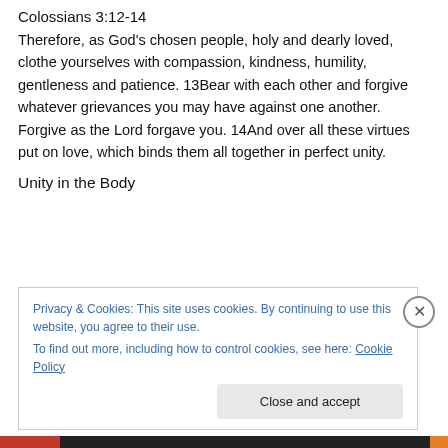Colossians 3:12-14
Therefore, as God's chosen people, holy and dearly loved, clothe yourselves with compassion, kindness, humility, gentleness and patience. 13Bear with each other and forgive whatever grievances you may have against one another. Forgive as the Lord forgave you. 14And over all these virtues put on love, which binds them all together in perfect unity.
Unity in the Body
Privacy & Cookies: This site uses cookies. By continuing to use this website, you agree to their use.
To find out more, including how to control cookies, see here: Cookie Policy